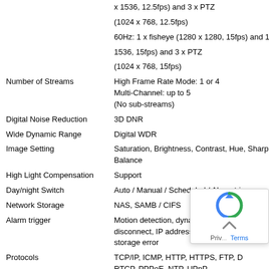| Feature | Value |
| --- | --- |
|  | x 1536, 12.5fps) and 3 x PTZ |
|  | (1024 x 768, 12.5fps) |
|  | 60Hz: 1 x fisheye (1280 x 1280, 15fps) and 1 x 1536, 15fps) and 3 x PTZ |
|  | (1024 x 768, 15fps) |
| Number of Streams | High Frame Rate Mode: 1 or 4
Multi-Channel: up to 5
(No sub-streams) |
| Digital Noise Reduction | 3D DNR |
| Wide Dynamic Range | Digital WDR |
| Image Setting | Saturation, Brightness, Contrast, Hue, Sharpness, White Balance |
| High Light Compensation | Support |
| Day/night Switch | Auto / Manual / Scheduled / Alarm trigger |
| Network Storage | NAS, SAMB / CIFS |
| Alarm trigger | Motion detection, dynamic analysis, tamper alarm, network disconnect, IP address conflict, storage full, storage error |
| Protocols | TCP/IP, ICMP, HTTP, HTTPS, FTP, DHCP, DNS, DDNS, RTP, RTSP, RTCP, PPPoE, NTP, UPnP, SMTP, SNMP, IGMP, 802.1X, QoS, IPv6, Bonjour |